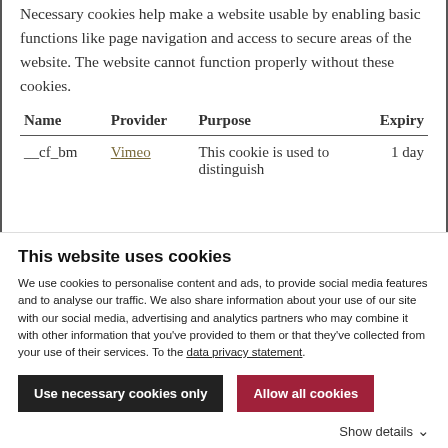Necessary cookies help make a website usable by enabling basic functions like page navigation and access to secure areas of the website. The website cannot function properly without these cookies.
| Name | Provider | Purpose | Expiry |
| --- | --- | --- | --- |
| __cf_bm | Vimeo | This cookie is used to distinguish | 1 day |
This website uses cookies
We use cookies to personalise content and ads, to provide social media features and to analyse our traffic. We also share information about your use of our site with our social media, advertising and analytics partners who may combine it with other information that you've provided to them or that they've collected from your use of their services. To the data privacy statement.
Use necessary cookies only
Allow all cookies
Show details